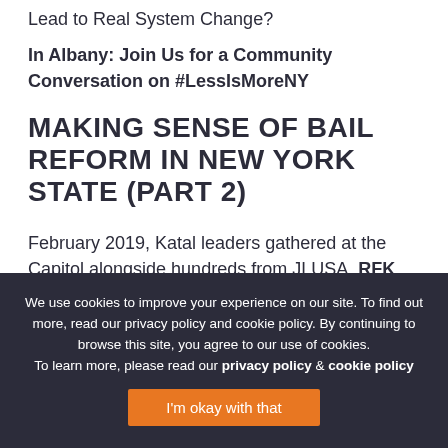Lead to Real System Change?
In Albany: Join Us for a Community Conversation on #LessIsMoreNY
MAKING SENSE OF BAIL REFORM IN NEW YORK STATE (PART 2)
February 2019, Katal leaders gathered at the Capitol alongside hundreds from JLUSA, RFK Human Rights, RAPP, NY Senators Brian Benjamin & Jamaal Bailey and more, rallying in
We use cookies to improve your experience on our site. To find out more, read our privacy policy and cookie policy. By continuing to browse this site, you agree to our use of cookies. To learn more, please read our privacy policy & cookie policy
I'm okay with that